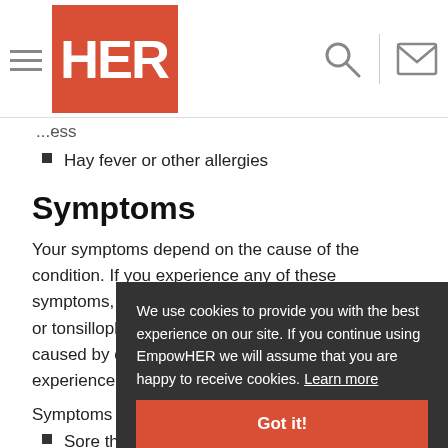HER (EmpowHER) website header with navigation icons
Hay fever or other allergies
Symptoms
Your symptoms depend on the cause of the condition. If you experience any of these symptoms, do not assume it is due to pharyngitis or tonsillopharyngitis. These symptoms may be caused by other health conditions. If you experience any one of them, see your doctor.
Symptoms include:
Sore throat
Pain or difficulty when swallowing
Difficulty breathing
Fever
We use cookies to provide you with the best experience on our site. If you continue using EmpowHER we will assume that you are happy to receive cookies. Learn more